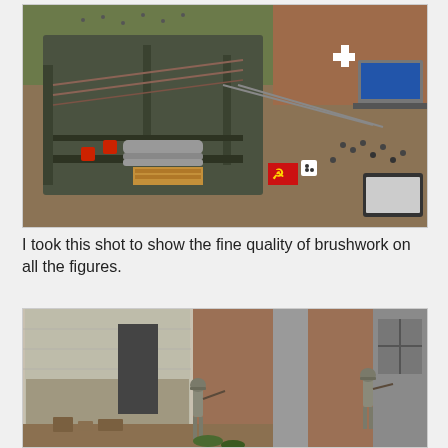[Figure (photo): Overhead/aerial view of a detailed WWII wargaming tabletop with ruined building models, miniature soldiers, rail tracks, craters, terrain, dice, a Soviet hammer-and-sickle flag marker, and a laptop/tablet visible at the edge of the table.]
I took this shot to show the fine quality of brushwork on all the figures.
[Figure (photo): Close-up ground-level view of painted miniature soldiers (WWII German infantry) beside ruined building terrain on a wargaming table, showing detailed brushwork on the figures.]